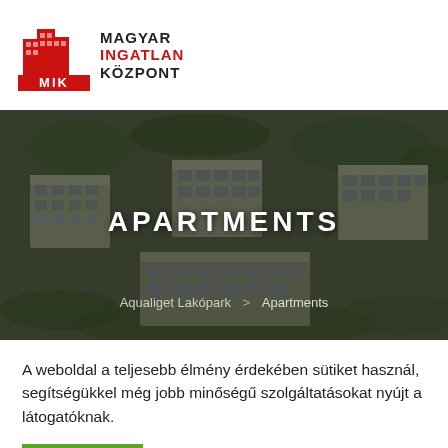[Figure (logo): Magyar Ingatlan Központ logo with MIK red building icon and text]
[Figure (photo): Aerial rendered view of Aqualiget Lakópark apartment buildings surrounded by green trees, dark overlay, with APARTMENTS title and breadcrumb navigation]
A weboldal a teljesebb élmény érdekében sütiket használ, segítségükkel még jobb minőségű szolgáltatásokat nyújt a látogatóknak.
Rendben